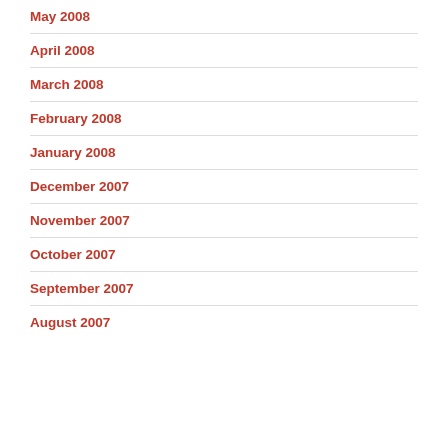May 2008
April 2008
March 2008
February 2008
January 2008
December 2007
November 2007
October 2007
September 2007
August 2007